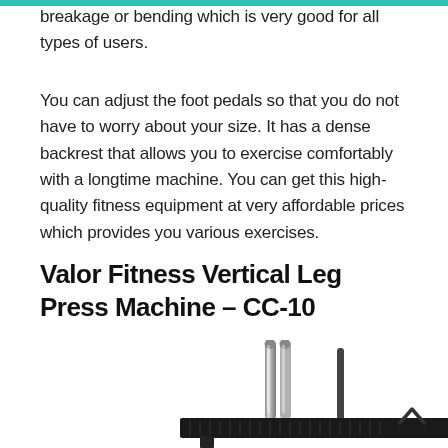breakage or bending which is very good for all types of users.
You can adjust the foot pedals so that you do not have to worry about your size. It has a dense backrest that allows you to exercise comfortably with a longtime machine. You can get this high-quality fitness equipment at very affordable prices which provides you various exercises.
Valor Fitness Vertical Leg Press Machine – CC-10
[Figure (photo): Valor Fitness Vertical Leg Press Machine CC-10 showing chrome weight posts and black foot platform bar]